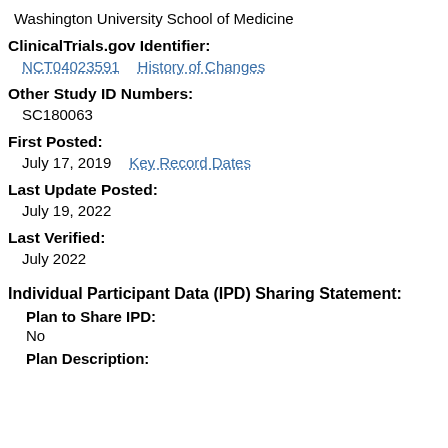Washington University School of Medicine
ClinicalTrials.gov Identifier:
NCT04023591    History of Changes
Other Study ID Numbers:
SC180063
First Posted:
July 17, 2019    Key Record Dates
Last Update Posted:
July 19, 2022
Last Verified:
July 2022
Individual Participant Data (IPD) Sharing Statement:
Plan to Share IPD:
No
Plan Description: